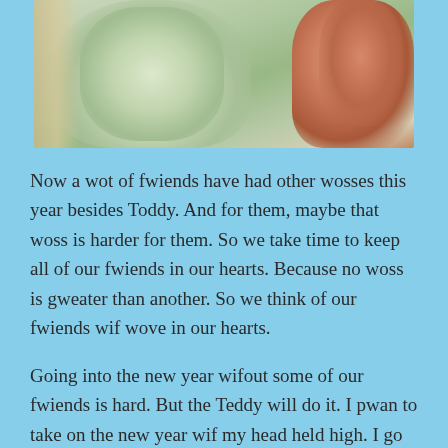[Figure (photo): Close-up photo of fluffy stuffed animals or cushions — a light green/cream textured plush on the left/center and a pink/orange fluffy one on the right, with a wooden frame partially visible on the left edge.]
Now a wot of fwiends have had other wosses this year besides Toddy. And for them, maybe that woss is harder for them. So we take time to keep all of our fwiends in our hearts. Because no woss is gweater than another. So we think of our fwiends wif wove in our hearts.
Going into the new year wifout some of our fwiends is hard. But the Teddy will do it. I pwan to take on the new year wif my head held high. I go into the new year wif all of my fwiends, those wif us still and those not, held cwose to my heart. And I will wive each day, never forgetting anyone. Those still here are sure to continue